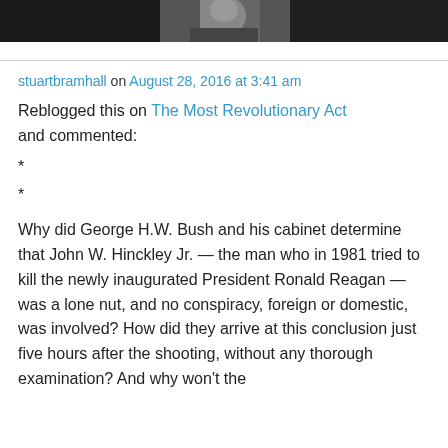[Figure (photo): Black and white photo strip at top of page, partially visible]
stuartbramhall on August 28, 2016 at 3:41 am
Reblogged this on The Most Revolutionary Act and commented:
*
*
Why did George H.W. Bush and his cabinet determine that John W. Hinckley Jr. — the man who in 1981 tried to kill the newly inaugurated President Ronald Reagan — was a lone nut, and no conspiracy, foreign or domestic, was involved? How did they arrive at this conclusion just five hours after the shooting, without any thorough examination? And why won't the